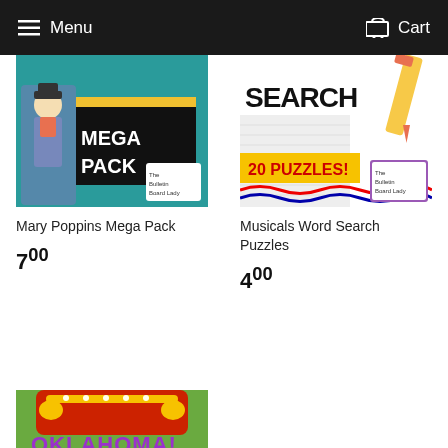Menu  Cart
[Figure (illustration): Mary Poppins Mega Pack product thumbnail - cartoon illustration of Mary Poppins character with MEGA PACK text on teal background, The Bulletin Board Lady branding]
Mary Poppins Mega Pack
7 00
[Figure (illustration): Musicals Word Search Puzzles product thumbnail - word search grid with SEARCH text, 20 PUZZLES! badge, pencil illustration, The Bulletin Board Lady branding]
Musicals Word Search Puzzles
4 00
[Figure (illustration): Oklahoma! musical product thumbnail - colorful circus/theatre marquee style illustration on green background with OKLAHOMA! text]